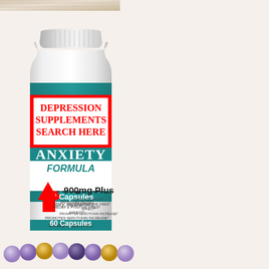[Figure (photo): Top strip showing a wooden surface texture, cropped at the top of the page]
[Figure (photo): Supplement bottle labeled 'ANXIETY FORMULA 900mg Plus, Dietary supplement, 60 Capsules' with a red label overlay reading 'DEPRESSION SUPPLEMENTS SEARCH HERE' and a red upward arrow. The bottle is white with teal/dark green accent bands.]
[Figure (photo): Purple and gold bead bracelet (amethyst-style beads) partially visible at the bottom of the page]